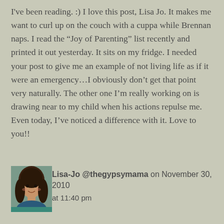I've been reading. :) I love this post, Lisa Jo. It makes me want to curl up on the couch with a cuppa while Brennan naps. I read the “Joy of Parenting” list recently and printed it out yesterday. It sits on my fridge. I needed your post to give me an example of not living life as if it were an emergency…I obviously don’t get that point very naturally. The other one I’m really working on is drawing near to my child when his actions repulse me. Even today, I’ve noticed a difference with it. Love to you!!
[Figure (photo): Small avatar photo of a woman with dark hair]
Lisa-Jo @thegypsymama on November 30, 2010 at 11:40 pm